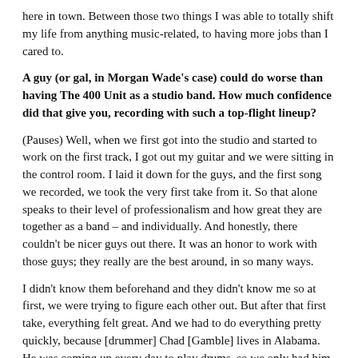here in town. Between those two things I was able to totally shift my life from anything music-related, to having more jobs than I cared to.
A guy (or gal, in Morgan Wade's case) could do worse than having The 400 Unit as a studio band. How much confidence did that give you, recording with such a top-flight lineup?
(Pauses) Well, when we first got into the studio and started to work on the first track, I got out my guitar and we were sitting in the control room. I laid it down for the guys, and the first song we recorded, we took the very first take from it. So that alone speaks to their level of professionalism and how great they are together as a band – and individually. And honestly, there couldn't be nicer guys out there. It was an honor to work with those guys; they really are the best around, in so many ways.
I didn't know them beforehand and they didn't know me so at first, we were trying to figure each other out. But after that first take, everything felt great. And we had to do everything pretty quickly, because [drummer] Chad [Gamble] lives in Alabama. He was coming up every day to play drums, so we only had him for a few days. We had to work efficiently, and those guys knew how to do it.
What was the studio dynamic like, in terms of the arranging?
Sadler and I put a lot of that together beforehand. A lot of the songs I wrote just on the acoustic guitar, and he didn't change too much other than on a couple of songs. I could hear in the after of all the songs, and Sadler could b